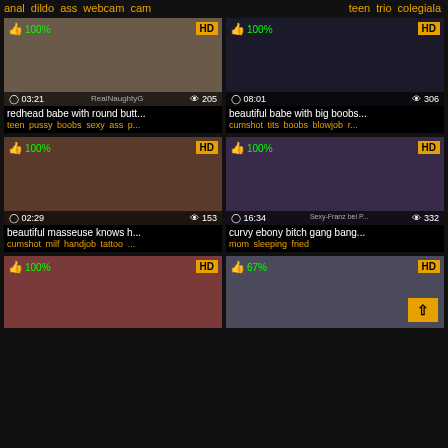anal dildo ass webcam cam
teen trio colegiala
[Figure (screenshot): Video thumbnail - redhead babe, 03:21, 205 views, 100%, HD]
redhead babe with round butt...
teen pussy boobs sexy ass p...
[Figure (screenshot): Video thumbnail - beautiful babe with big boobs, 08:01, 306 views, 100%, HD]
beautiful babe with big boobs...
cumshot tits boobs blowjob r...
[Figure (screenshot): Video thumbnail - beautiful masseuse, 02:29, 153 views, 100%, HD]
beautiful masseuse knows h...
cumshot milf handjob tattoo ...
[Figure (screenshot): Video thumbnail - curvy ebony bitch gang bang, 16:34, 332 views, 100%, HD]
curvy ebony bitch gang bang...
mom sleeping fried
[Figure (screenshot): Video thumbnail bottom left - 100%, HD]
[Figure (screenshot): Video thumbnail bottom right - 67%, HD]